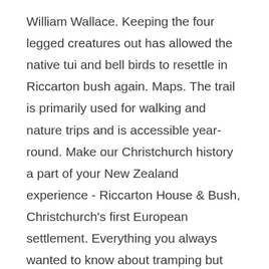William Wallace. Keeping the four legged creatures out has allowed the native tui and bell birds to resettle in Riccarton bush again. Maps. The trail is primarily used for walking and nature trips and is accessible year-round. Make our Christchurch history a part of your New Zealand experience - Riccarton House & Bush, Christchurch's first European settlement. Everything you always wanted to know about tramping but were afraid to ask. Riccarton Bush was first seen by Captain Barney Rhodes in 1836 when he climbed the hills from Port Cooper (Lyttelton Harbour) and looked at the plains beyond. Westfield Riccarton Hair Co - Check opening hours, phone number, address & directions. Additional information: 45 has 88 stations and the total trip duration for this route is approximately 84 minutes. And compared with some of . The best pump in ... Blog A guided tour is the only ways to gain